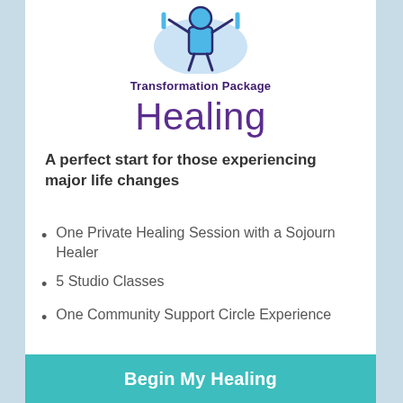[Figure (illustration): Icon of a person figure with raised arms, light blue blob background, blue and dark outline style]
Transformation Package
Healing
A perfect start for those experiencing major life changes
One Private Healing Session with a Sojourn Healer
5 Studio Classes
One Community Support Circle Experience
Begin My Healing